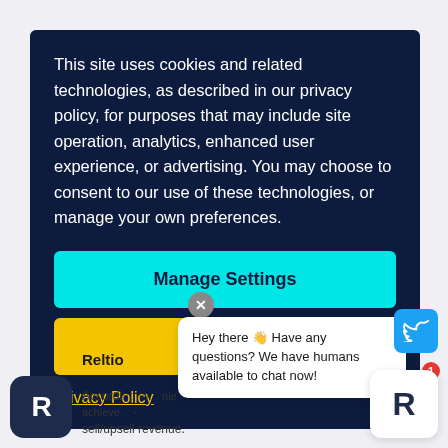This site uses cookies and related technologies, as described in our privacy policy, for purposes that may include site operation, analytics, enhanced user experience, or advertising. You may choose to consent to our use of these technologies, or manage your own preferences.
Manage Settings
Accept All
Privacy Policy
Reltio
Hey there 👋 Have any questions? We have humans available to chat now!
Accordi... nie achieve... - sell/upsell revenue.